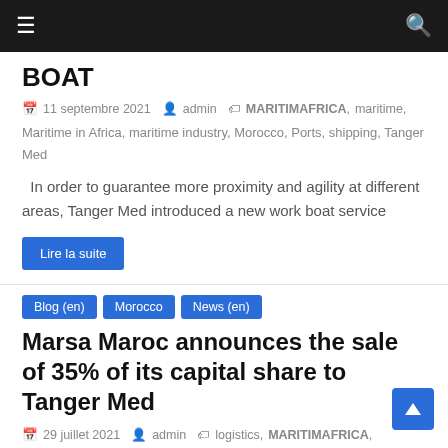Navigation bar with hamburger menu and search icon
BOAT
11 septembre 2021  admin  MARITIMAFRICA, maritime, Maritime in Africa, maritime industry, Morocco, Ports, shipping, Tanger Med
In order to guarantee more proximity and agility at different areas, Tanger Med introduced a new work boat service
Lire la suite
Blog (en)
Morocco
News (en)
Marsa Maroc announces the sale of 35% of its capital share to Tanger Med
29 juillet 2021  admin  logistics, MARITIMAFRICA, maritime,